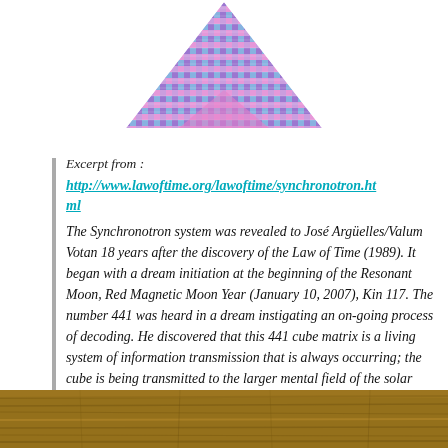[Figure (illustration): Geometric mosaic diamond/triangle logo in purple, blue, and pink hues at the top center of the page]
Excerpt from :
http://www.lawoftime.org/lawoftime/synchronotron.html
The Synchronotron system was revealed to José Argüelles/Valum Votan 18 years after the discovery of the Law of Time (1989). It began with a dream initiation at the beginning of the Resonant Moon, Red Magnetic Moon Year (January 10, 2007), Kin 117. The number 441 was heard in a dream instigating an on-going process of decoding. He discovered that this 441 cube matrix is a living system of information transmission that is always occurring; the cube is being transmitted to the larger mental field of the solar system and then into the planet.
[Figure (photo): Wooden surface/floor photo strip at the bottom of the page]